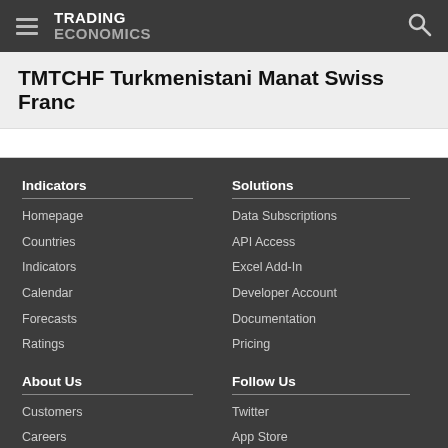TRADING ECONOMICS
TMTCHF Turkmenistani Manat Swiss Franc
Indicators
Homepage
Countries
Indicators
Calendar
Forecasts
Ratings
Solutions
Data Subscriptions
API Access
Excel Add-In
Developer Account
Documentation
Pricing
About Us
Customers
Careers
Investors
Advertisers
About us
Follow Us
Twitter
App Store
RSS
GitHub
Privacy